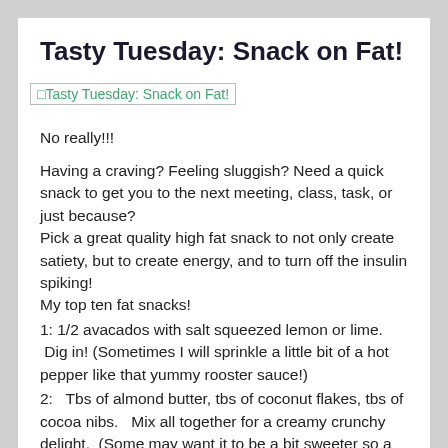Tasty Tuesday: Snack on Fat!
[Figure (illustration): Image placeholder/broken image icon with alt text 'Tasty Tuesday: Snack on Fat!' shown as a link/image reference in teal/green color]
No really!!!
Having a craving?  Feeling sluggish? Need a quick snack to get you to the next meeting, class, task, or just because?
Pick a great quality high fat snack to not only create satiety, but to create energy, and to turn off the insulin spiking!
My top ten fat snacks!
1:  1/2 avacados with salt squeezed lemon or lime.  Dig in! (Sometimes I will sprinkle a little bit of a hot pepper like that yummy rooster sauce!)
2:   Tbs of almond butter, tbs of coconut flakes, tbs of cocoa nibs.   Mix all together for a creamy crunchy delight.  (Some may want it to be a bit sweeter so a drop or 2 of a liquid stevia)